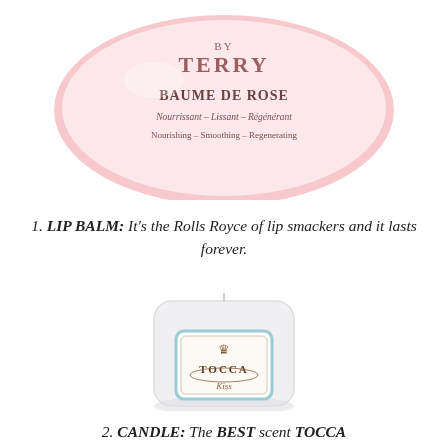[Figure (photo): Close-up of By Terry Baume de Rose lip balm product container, pink/white with text: BAUME DE ROSE, Nourrissant - Lissant - Régénérant, Nourishing - Smoothing - Regenerating]
1. LIP BALM: It's the Rolls Royce of lip smackers and it lasts forever.
[Figure (photo): White glass TOCCA candle with label showing crown and TOCCA branding, with small wick visible at top]
2. CANDLE: The BEST scent TOCCA